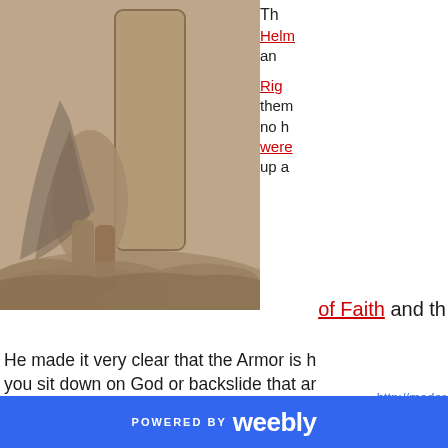[Figure (illustration): Sepia-toned pencil drawing of an armored warrior figure, viewed from behind/side, with flowing cape and large shield, standing on rocky ground]
Th Helm an Rig them no h were up a of Faith and th
He made it very clear that the Armor is h you sit down on God or backslide that ar you! Use it right in the fight and you w A
http://moder
POWERED BY weebly